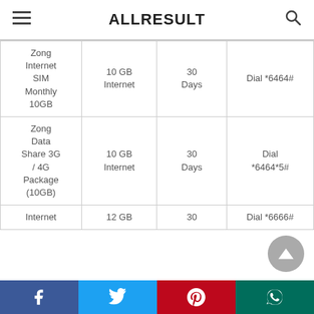ALLRESULT
| Zong Internet SIM Monthly 10GB | 10 GB Internet | 30 Days | Dial *6464# |
| Zong Data Share 3G / 4G Package (10GB) | 10 GB Internet | 30 Days | Dial *6464*5# |
| Internet | 12 GB | 30 | Dial *6666# |
Facebook | Twitter | Pinterest | WhatsApp